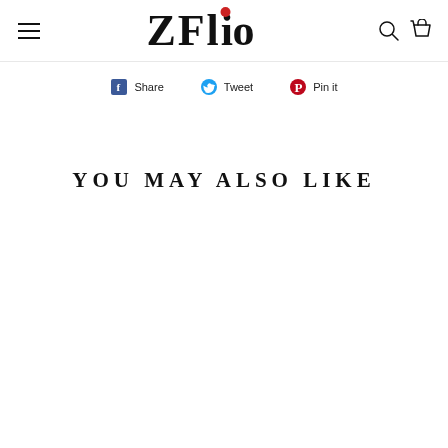ZFolio
Share  Tweet  Pin it
YOU MAY ALSO LIKE